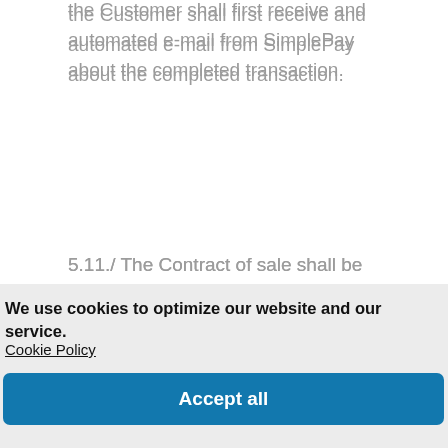the Customer shall first receive and automated e-mail from SimplePay about the completed transaction.
5.11./ The Contract of sale shall be
We use cookies to optimize our website and our service.
Cookie Policy
Accept all
Functional only
View preferences